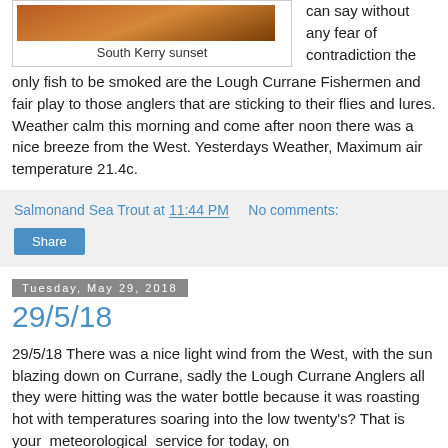[Figure (photo): South Kerry sunset photo — orange and dark landscape panoramic image]
South Kerry sunset
can say without any fear of contradiction the only fish to be smoked are the Lough Currane Fishermen and fair play to those anglers that are sticking to their flies and lures. Weather calm this morning and come after noon there was a nice breeze from the West. Yesterdays Weather, Maximum air temperature 21.4c.
Salmonand Sea Trout at 11:44 PM    No comments:
Share
Tuesday, May 29, 2018
29/5/18
29/5/18 There was a nice light wind from the West, with the sun blazing down on Currane, sadly the Lough Currane Anglers all they were hitting was the water bottle because it was roasting hot with temperatures soaring into the low twenty's? That is your  meteorological  service for today, on